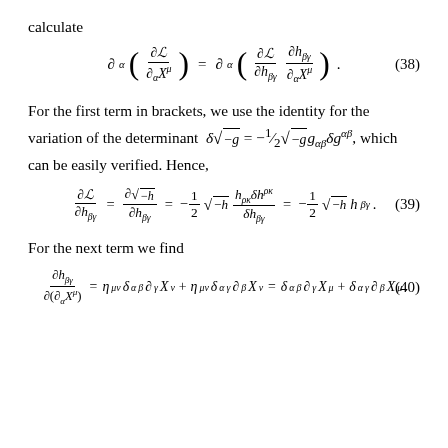calculate
For the first term in brackets, we use the identity for the variation of the determinant δ√(−g) = −½√(−g)g_{αβ}δg^{αβ}, which can be easily verified. Hence,
For the next term we find